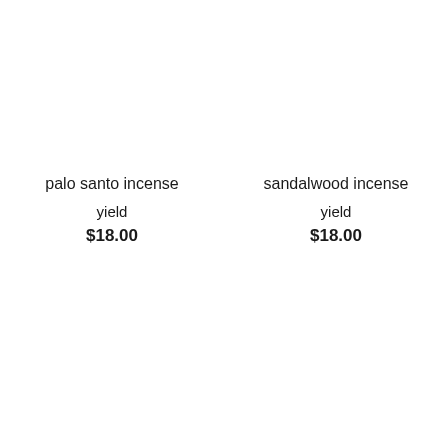palo santo incense
yield
$18.00
sandalwood incense
yield
$18.00